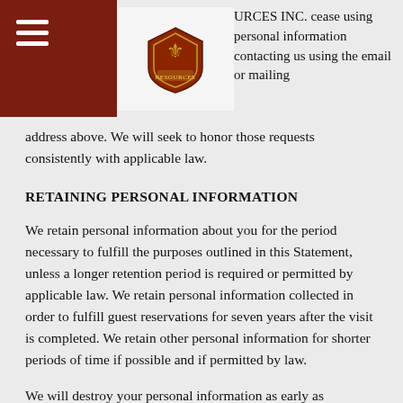URCES INC. cease using personal information contacting us using the email or mailing
address above. We will seek to honor those requests consistently with applicable law.
RETAINING PERSONAL INFORMATION
We retain personal information about you for the period necessary to fulfill the purposes outlined in this Statement, unless a longer retention period is required or permitted by applicable law. We retain personal information collected in order to fulfill guest reservations for seven years after the visit is completed. We retain other personal information for shorter periods of time if possible and if permitted by law.
We will destroy your personal information as early as